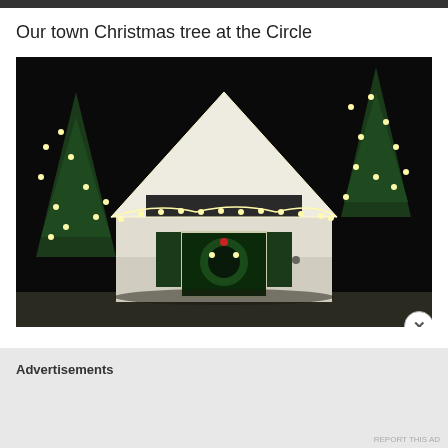Our town Christmas tree at the Circle
[Figure (photo): Night photo of a small white house/building decorated with Christmas lights along the roofline. The building has a triangular peaked roof, a window with a Christmas wreath, and dark shutters. Two Christmas trees decorated with lights flank the building on left and right. The background is dark/night sky.]
Advertisements